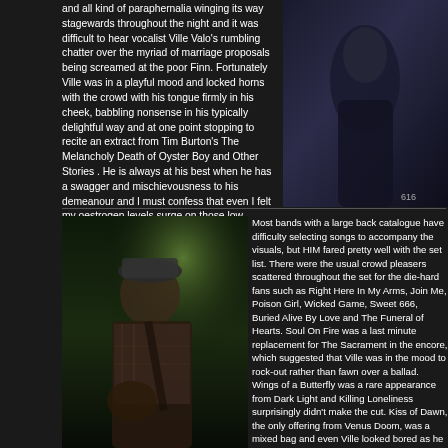and all kind of paraphernalia winging its way stagewards throughout the night and it was difficult to hear vocalist Ville Valo's rumbling chatter over the myriad of marriage proposals being screamed at the poor Finn. Fortunately Ville was in a playful mood and locked horns with the crowd with his tongue firmly in his cheek, babbling nonsense in his typically delightful way and at one point stopping to recite an extract from Tim Burton's The Melancholy Death of Oyster Boy and Other Stories . He is always at his best when he has a swagger and mischievousness to his demeanour and I must confess that even I felt my oestrogen levels surge on those low baritone notes.
[Figure (photo): Dark photo of a person on stage, dark background with figure in dark jacket]
[Figure (photo): Concert photo of a guitarist wearing a plaid shirt and beanie hat, playing guitar on stage with green stage lighting]
Most bands with a large back catalogue have difficulty selecting songs to accompany the visuals, but HIM fared pretty well with the set list. There were the usual crowd pleasers scattered throughout the set for the die-hard fans such as Right Here In My Arms, Join Me, Poison Girl, Wicked Game, Sweet 666, Buried Alive By Love and The Funeral of Hearts. Soul On Fire was a last minute replacement for The Sacrament in the encore, which suggested that Ville was in the mood to rock-out rather than fawn over a ballad. Wings of a Butterfly was a rare appearance from Dark Light and Killing Loneliness surprisingly didn't make the cut. Kiss of Dawn, the only offering from Venus Doom, was a mixed bag and even Ville looked bored as he painfully dragged through the lyrics to the final chorus. Maybe Passion's Killing Floor or Bleed Well would have been a better choice. Both Wings and Ki